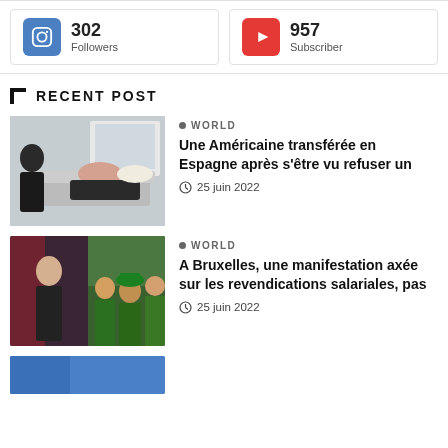302 Followers (Instagram)
957 Subscriber (YouTube)
RECENT POST
[Figure (photo): Woman lying in a hospital bed, person standing nearby]
● WORLD
Une Américaine transférée en Espagne après s'être vu refuser un
⊙ 25 juin 2022
[Figure (photo): Split image: woman news presenter on left, crowd with green hats on right]
● WORLD
A Bruxelles, une manifestation axée sur les revendications salariales, pas
⊙ 25 juin 2022
[Figure (photo): Partial image at bottom of page (cropped)]